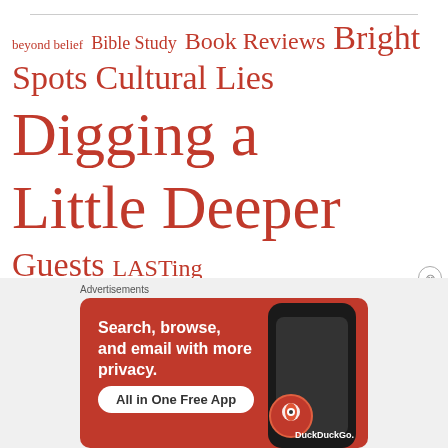[Figure (infographic): Word cloud with terms in various sizes in dark red/crimson color: beyond belief, Bible Study, Book Reviews, Bright, Spots, Cultural Lies, Digging a Little Deeper, Guests, LASTing, Peace, Lies We Believe, Marriage, Miscellaneous, Pain, Personal, Lies, Poetry, Prayer, Recipes, Rejoicing in the Truth, Relational Lies, Stories, Surviving the Predatory Lies of Anorexia, new book]
[Figure (illustration): DuckDuckGo advertisement banner: Search, browse, and email with more privacy. All in One Free App. Shows a phone graphic and DuckDuckGo logo.]